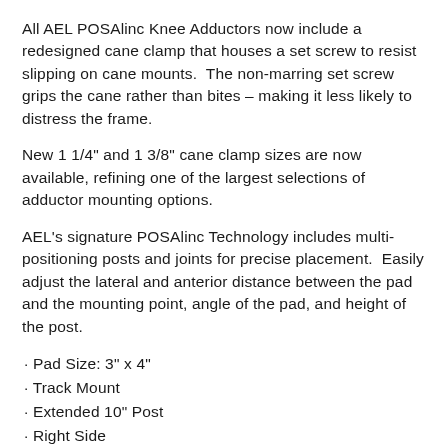All AEL POSAlinc Knee Adductors now include a redesigned cane clamp that houses a set screw to resist slipping on cane mounts.  The non-marring set screw grips the cane rather than bites – making it less likely to distress the frame.
New 1 1/4" and 1 3/8" cane clamp sizes are now available, refining one of the largest selections of adductor mounting options.
AEL's signature POSAlinc Technology includes multi-positioning posts and joints for precise placement.  Easily adjust the lateral and anterior distance between the pad and the mounting point, angle of the pad, and height of the post.
· Pad Size: 3" x 4"
· Track Mount
· Extended 10" Post
· Right Side
All stock pads include ½" Medium SunMate with a black Neoprene cover. For added pressure relief, see Knee